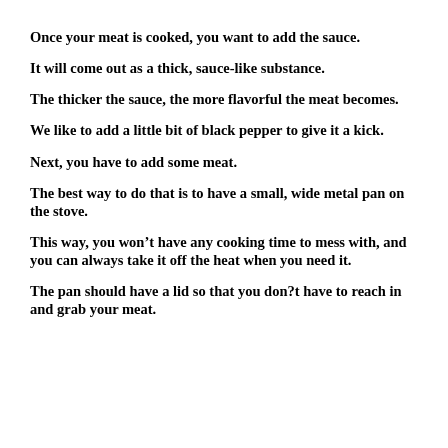Once your meat is cooked, you want to add the sauce.
It will come out as a thick, sauce-like substance.
The thicker the sauce, the more flavorful the meat becomes.
We like to add a little bit of black pepper to give it a kick.
Next, you have to add some meat.
The best way to do that is to have a small, wide metal pan on the stove.
This way, you won’t have any cooking time to mess with, and you can always take it off the heat when you need it.
The pan should have a lid so that you don?t have to reach in and grab your meat.